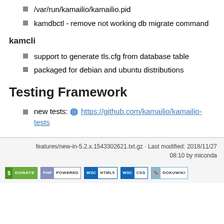/var/run/kamailio/kamailio.pid
kamdbctl - remove not working db migrate command
kamcli
support to generate tls.cfg from database table
packaged for debian and ubuntu distributions
Testing Framework
new tests: https://github.com/kamailio/kamailio-tests
features/new-in-5.2.x.1543302621.txt.gz · Last modified: 2018/11/27 08:10 by miconda